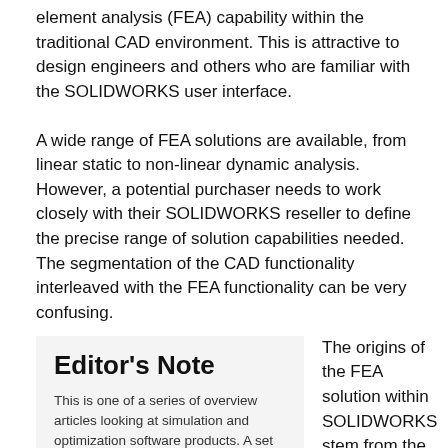element analysis (FEA) capability within the traditional CAD environment. This is attractive to design engineers and others who are familiar with the SOLIDWORKS user interface.
A wide range of FEA solutions are available, from linear static to non-linear dynamic analysis. However, a potential purchaser needs to work closely with their SOLIDWORKS reseller to define the precise range of solution capabilities needed. The segmentation of the CAD functionality interleaved with the FEA functionality can be very confusing.
Editor's Note
This is one of a series of overview articles looking at simulation and optimization software products. A set of videos documenting and expanding on the steps taken can be found at: digitaleng.news/de/SWsimulation1.
The origins of the FEA solution within SOLIDWORKS stem from the COSMOS FEA solver, a different solver from the